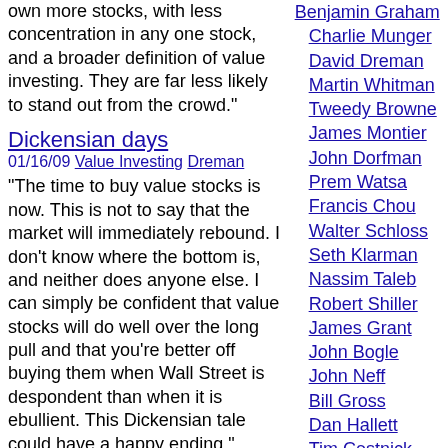own more stocks, with less concentration in any one stock, and a broader definition of value investing. They are far less likely to stand out from the crowd."
Dickensian days
01/16/09 Value Investing Dreman
"The time to buy value stocks is now. This is not to say that the market will immediately rebound. I don't know where the bottom is, and neither does anyone else. I can simply be confident that value stocks will do well over the long pull and that you're better off buying them when Wall Street is despondent than when it is ebullient. This Dickensian tale could have a happy ending."
It's time to buy
11/20/08 Value Investing Dreman
"First, do not flee the market by selling your quality stocks. Yes, it's the worst bear market since 2000--02, and stocks are trading at valuations not seen in decades, but equities will come back. Second,
Benjamin Graham
Charlie Munger
David Dreman
Martin Whitman
Tweedy Browne
James Montier
John Dorfman
Prem Watsa
Francis Chou
Walter Schloss
Seth Klarman
Nassim Taleb
Robert Shiller
James Grant
John Bogle
John Neff
Bill Gross
Dan Hallett
Tim Cestnick
Jason Zweig
Norm Rothery
Article Archive
2001
2002
2003
2004
2005
2006
2007